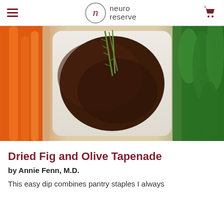neuro reserve
[Figure (photo): Close-up photo of Dried Fig and Olive Tapenade in a white bowl, surrounded by carrot sticks and snap peas]
Dried Fig and Olive Tapenade
by Annie Fenn, M.D.
This easy dip combines pantry staples I always